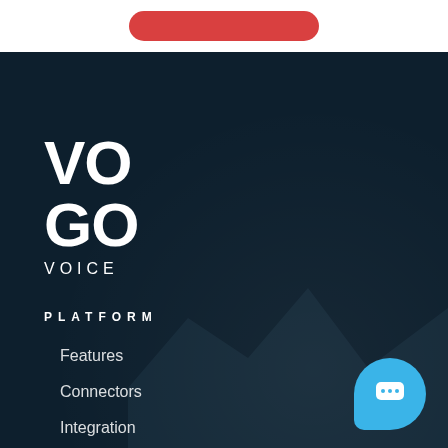[Figure (logo): Red pill-shaped button partially visible at top of page on white background]
[Figure (logo): VOGO VOICE logo in large white bold text on dark navy background]
PLATFORM
Features
Connectors
Integration
Pricing
[Figure (illustration): Blue rounded chat/messaging button in bottom right corner with speech bubble icon]